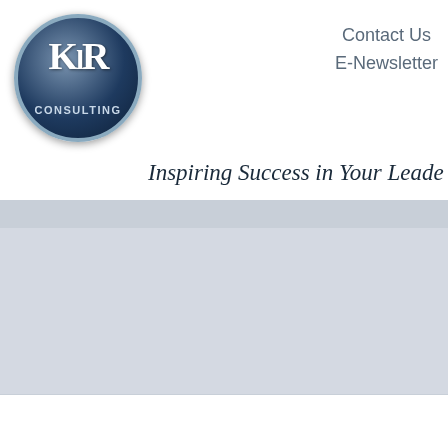[Figure (logo): KLR Consulting circular logo — dark navy blue gradient circle with white serif KLR letters and CONSULTING text]
Contact Us
E-Newsletter
Inspiring Success in Your Leade
SERVICES
"KLR Consulting has been a consistent resource to me have never worked with anyone who has more passion excellence and customer satisfaction than Kristi. Her 're consulting skills great dimension and I have turned to K organizational issues and improve employee relations."
Services